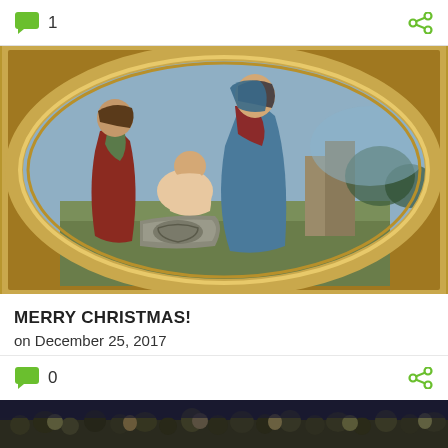[Figure (other): Comment bubble icon with count '1' and share icon on top bar]
[Figure (illustration): Renaissance painting of Madonna and Child with another child figure, set in a gold oval frame against a landscape background]
MERRY CHRISTMAS!
on December 25, 2017
[Figure (other): Comment bubble icon with count '0' and share icon on bottom bar]
[Figure (photo): Crowd scene photo strip at bottom]